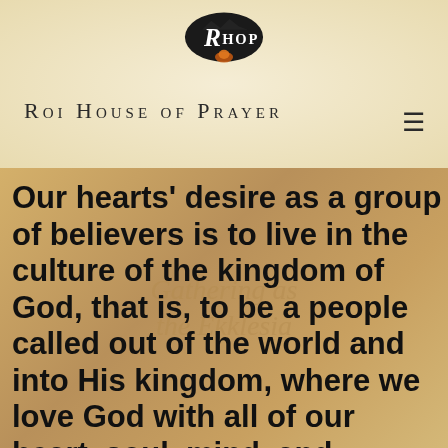[Figure (logo): RHOP oval logo with mountain silhouette, black oval background with white text]
Roi House of Prayer
Our hearts' desire as a group of believers is to live in the culture of the kingdom of God, that is, to be a people called out of the world and into His kingdom, where we love God with all of our heart, soul, mind, and strength,